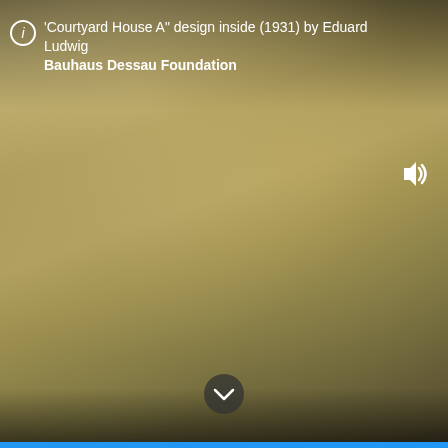[Figure (photo): A blurred, warm golden-brown interior photograph of the Courtyard House A design by Eduard Ludwig, 1931, from the Bauhaus Dessau Foundation collection. The image is hazy and atmospheric with gradients from golden-ochre tones in the upper portion to darker brown-grey tones at the bottom.]
'Courtyard House A" design inside (1931) by Eduard Ludwig
Bauhaus Dessau Foundation